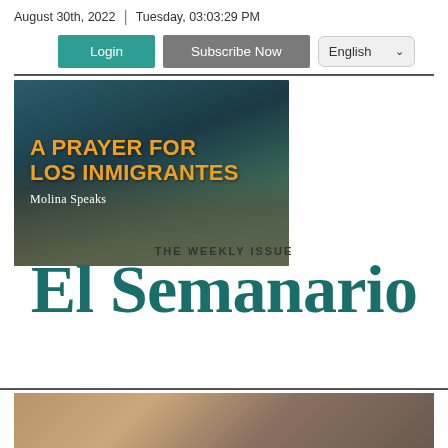August 30th, 2022  |  Tuesday, 03:03:29 PM
Login | Subscribe Now | English
[Figure (photo): A Prayer for Los Inmigrantes - Molina Speaks. Aerial view of sandy landscape with teal/dark blue sky overlay. Bold orange text reads 'A PRAYER FOR LOS INMIGRANTES' with 'Molina Speaks' below in white.]
THE WEEKLY ISSUE
El Semanario
[Figure (photo): Partial bottom image strip showing what appears to be a wooden or bronze surface, cropped.]